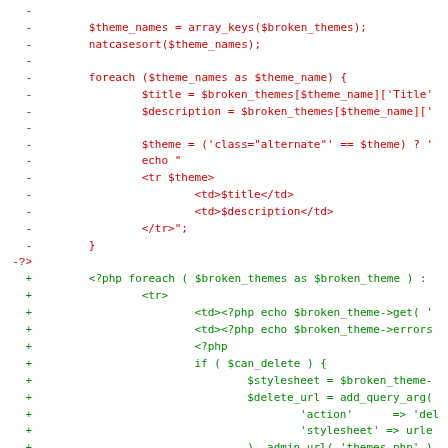[Figure (screenshot): A code diff showing removed lines (red, prefixed with -) and added lines (green, prefixed with +) from a PHP file dealing with broken themes in WordPress admin.]